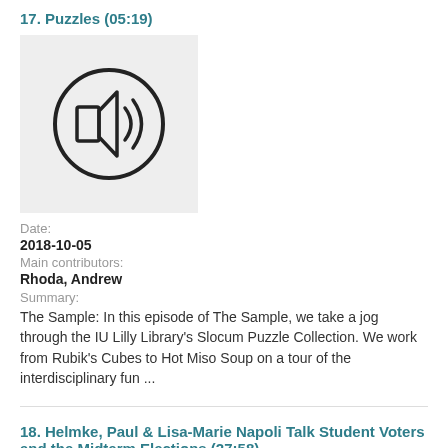17. Puzzles (05:19)
[Figure (illustration): Podcast thumbnail with speaker/audio icon on grey background]
Date:
2018-10-05
Main contributors:
Rhoda, Andrew
Summary:
The Sample: In this episode of The Sample, we take a jog through the IU Lilly Library's Slocum Puzzle Collection. We work from Rubik's Cubes to Hot Miso Soup on a tour of the interdisciplinary fun ...
18. Helmke, Paul & Lisa-Marie Napoli Talk Student Voters and the Midterm Elections (27:58)
[Figure (illustration): Podcast thumbnail with speaker/audio icon on grey background, partially visible]